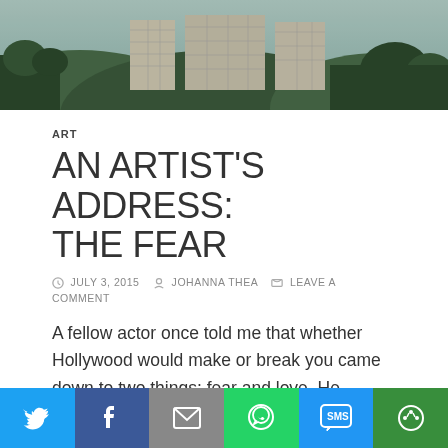[Figure (photo): Aerial photo of the Hollywood sign on a hillside with trees and city buildings in the background, with teal/vintage filter applied]
ART
AN ARTIST'S ADDRESS: THE FEAR
JULY 3, 2015  JOHANNA THEA  LEAVE A COMMENT
A fellow actor once told me that whether Hollywood would make or break you came down to two things: fear and love. He explained this to me as we sat in his car on a swelteringly hot day, bang in the middle of moving house (artists are renowned for all sorts of…
[Figure (infographic): Social media share bar with Twitter, Facebook, Email, WhatsApp, SMS, and More buttons]